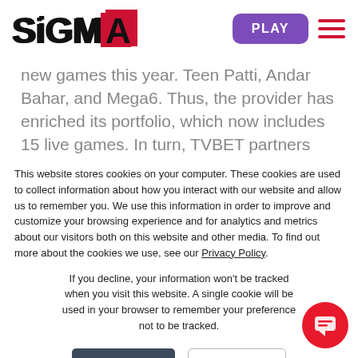[Figure (logo): SiGMA logo with stylized red arrow/chevron replacing the A]
new games this year. Teen Patti, Andar Bahar, and Mega6. Thus, the provider has enriched its portfolio, which now includes 15 live games. In turn, TVBET partners have also already gained
This website stores cookies on your computer. These cookies are used to collect information about how you interact with our website and allow us to remember you. We use this information in order to improve and customize your browsing experience and for analytics and metrics about our visitors both on this website and other media. To find out more about the cookies we use, see our Privacy Policy.
If you decline, your information won't be tracked when you visit this website. A single cookie will be used in your browser to remember your preference not to be tracked.
Accept
Decline